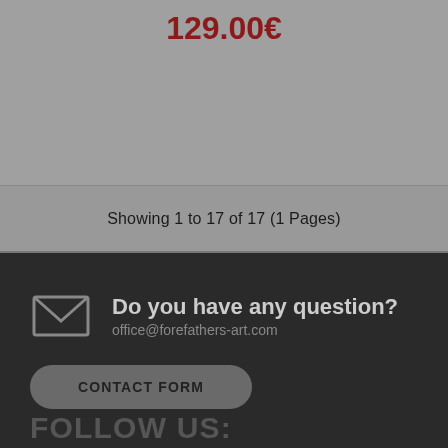129.00€
Showing 1 to 17 of 17 (1 Pages)
Do you have any question?
office@forefathers-art.com
CONTACT FORM
FOLLOW US: